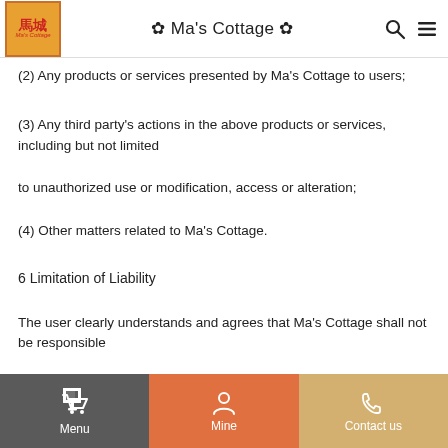Ma's Cottage
(2) Any products or services presented by Ma's Cottage to users;
(3) Any third party's actions in the above products or services, including but not limited to unauthorized use or modification, access or alteration;
(4) Other matters related to Ma's Cottage.
6 Limitation of Liability
The user clearly understands and agrees that Ma's Cottage shall not be responsible for any direct, indirect, incidental, or incidental losses caused by the user or any third
Menu | Mine | Contact us